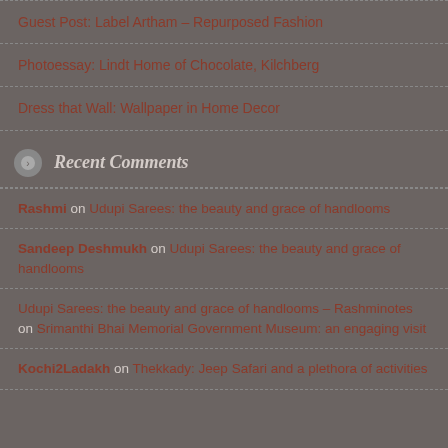Guest Post: Label Artham – Repurposed Fashion
Photoessay: Lindt Home of Chocolate, Kilchberg
Dress that Wall: Wallpaper in Home Decor
Recent Comments
Rashmi on Udupi Sarees: the beauty and grace of handlooms
Sandeep Deshmukh on Udupi Sarees: the beauty and grace of handlooms
Udupi Sarees: the beauty and grace of handlooms – Rashminotes on Srimanthi Bhai Memorial Government Museum: an engaging visit
Kochi2Ladakh on Thekkady: Jeep Safari and a plethora of activities